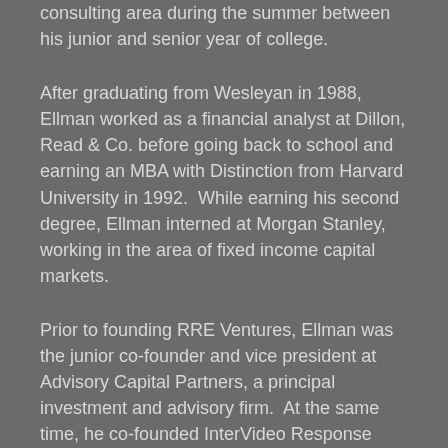consulting area during the summer between his junior and senior year of college.
After graduating from Wesleyan in 1988, Ellman worked as a financial analyst at Dillon, Read & Co. before going back to school and earning an MBA with Distinction from Harvard University in 1992.  While earning his second degree, Ellman interned at Morgan Stanley, working in the area of fixed income capital markets.
Prior to founding RRE Ventures, Ellman was the junior co-founder and vice president at Advisory Capital Partners, a principal investment and advisory firm.  At the same time, he co-founded InterVideo Response along with Jim Robinson IV, one of his friends